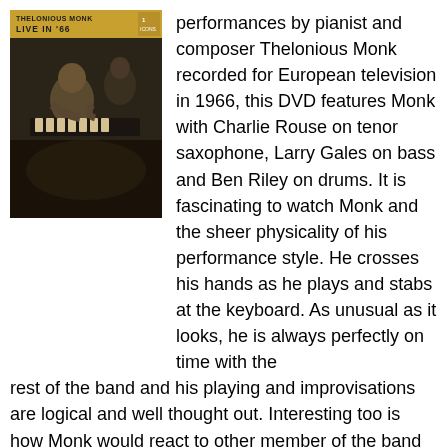[Figure (photo): Album cover of Thelonious Monk Live in '66, showing a black and white photo of Monk at the piano with another musician in background, with a golden/yellow banner at top reading 'THELONIOUS MONK LIVE IN '66' and a small logo in the upper right]
performances by pianist and composer Thelonious Monk recorded for European television in 1966, this DVD features Monk with Charlie Rouse on tenor saxophone, Larry Gales on bass and Ben Riley on drums. It is fascinating to watch Monk and the sheer physicality of his performance style. He crosses his hands as he plays and stabs at the keyboard. As unusual as it looks, he is always perfectly on time with the rest of the band and his playing and improvisations are logical and well thought out. Interesting too is how Monk would react to other member of the band soloing, at times doing a shuffling dance while keeping time with a twitching elbow especially on "Lulu's Back In Town". Drummer Ben Riley plays a very small kit that is stripped down to just the bare few pieces, but his brush work is deft and he provides a firm rhythmic foundation with bassist Larry Gales who gets some lengthy solo opportunities. They play a very nice and enigmatic version of the moody Monk classic "Round Midnight" with Monk stating the melody and then the rest of